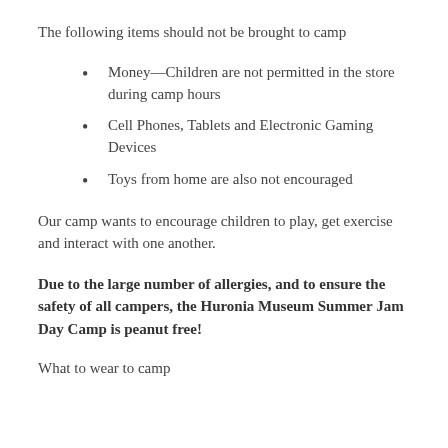The following items should not be brought to camp
Money—Children are not permitted in the store during camp hours
Cell Phones, Tablets and Electronic Gaming Devices
Toys from home are also not encouraged
Our camp wants to encourage children to play, get exercise and interact with one another.
Due to the large number of allergies, and to ensure the safety of all campers, the Huronia Museum Summer Jam Day Camp is peanut free!
What to wear to camp